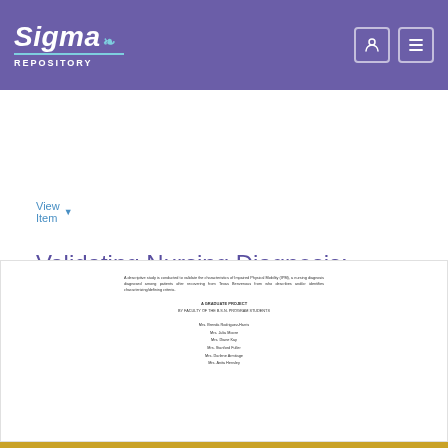Sigma Repository
View Item
Validating Nursing Diagnosis: Impaired Physical Mobility
View File(s)
[Figure (other): Preview thumbnail of document page showing abstract text, 'A GRADUATE PROJECT' heading, author names listed centered on page]